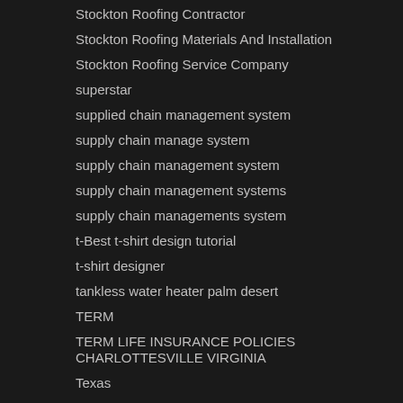Stockton Roofing Contractor
Stockton Roofing Materials And Installation
Stockton Roofing Service Company
superstar
supplied chain management system
supply chain manage system
supply chain management system
supply chain management systems
supply chain managements system
t-Best t-shirt design tutorial
t-shirt designer
tankless water heater palm desert
TERM
TERM LIFE INSURANCE POLICIES CHARLOTTESVILLE VIRGINIA
Texas